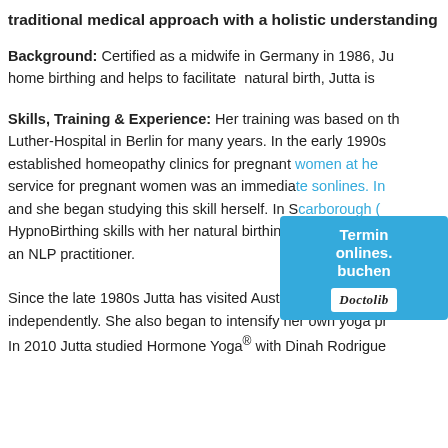traditional medical approach with a holistic understanding
Background: Certified as a midwife in Germany in 1986, Ju home birthing and helps to facilitate natural birth, Jutta is
Skills, Training & Experience: Her training was based on th Luther-Hospital in Berlin for many years. In the early 1990s established homeopathy clinics for pregnant women at he service for pregnant women was an immediate s onlines. In and she began studying this skill herself. In Scarborough ( HypnoBirthing skills with her natural birthing classes. In 20 an NLP practitioner.
[Figure (other): Blue overlay popup box with text 'Termin onlines buchen' and Doctolib logo]
Since the late 1980s Jutta has visited Australia often and a independently. She also began to intensify her own yoga pr In 2010 Jutta studied Hormone Yoga® with Dinah Rodrigue